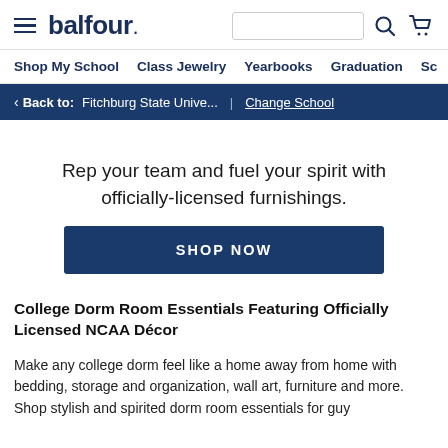balfour. [hamburger menu, search box, search icon, cart icon]
Shop My School | Class Jewelry | Yearbooks | Graduation | Sc
< Back to: Fitchburg State Unive... | Change School
Rep your team and fuel your spirit with officially-licensed furnishings.
SHOP NOW
College Dorm Room Essentials Featuring Officially Licensed NCAA Décor
Make any college dorm feel like a home away from home with bedding, storage and organization, wall art, furniture and more. Shop stylish and spirited dorm room essentials for guy